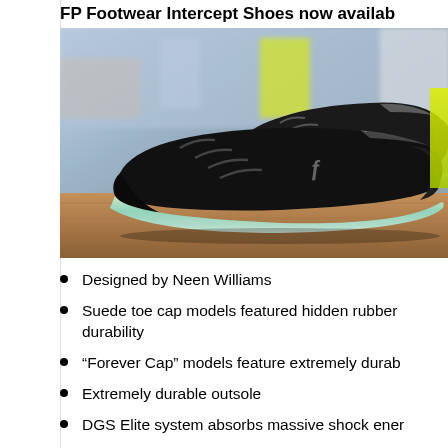FP Footwear Intercept Shoes now availab
[Figure (photo): Photo of black FP Footwear Intercept skate shoes with translucent/iridescent soles displayed in a store setting on a wooden surface, with store shelves visible in the background]
Designed by Neen Williams
Suede toe cap models featured hidden rubber durability
“Forever Cap” models feature extremely durab
Extremely durable outsole
DGS Elite system absorbs massive shock ener
Heel collar for extended durability